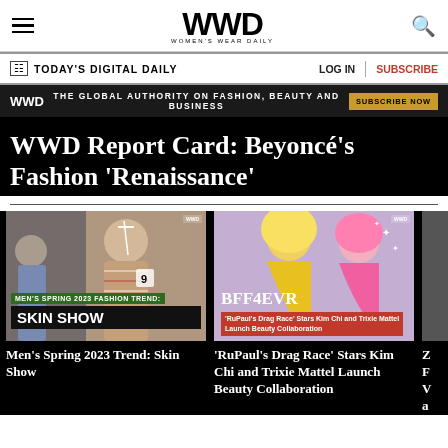WWD WOMEN'S WEAR DAILY
TODAY'S DIGITAL DAILY   LOG IN   SUBSCRIBE
WWD  THE GLOBAL AUTHORITY ON FASHION, BEAUTY AND BUSINESS  SUBSCRIBE NOW
WWD Report Card: Beyoncé's Fashion 'Renaissance'
[Figure (screenshot): Men's Spring 2023 Fashion Trend: Skin Show — fashion model with face paint and open shirt]
Men's Spring 2023 Trend: Skin Show
[Figure (screenshot): BFF4EVR — RuPaul's Drag Race Stars Kim Chi and Trixie Mattel Launch Beauty Collaboration]
'RuPaul's Drag Race' Stars Kim Chi and Trixie Mattel Launch Beauty Collaboration